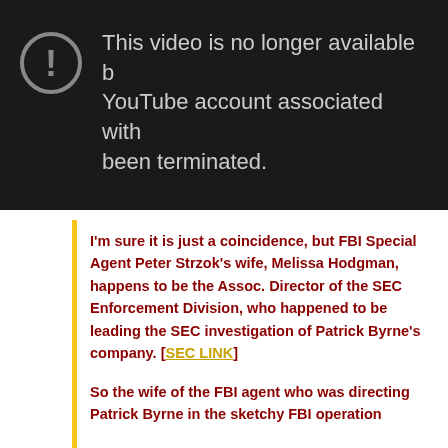[Figure (screenshot): YouTube video unavailable error screen showing a dark background with an exclamation mark circle icon and text: 'This video is no longer available because the YouTube account associated with this video has been terminated.']
I'm sure it is just a coincidence, but FBI Special Agent Peter Strzok's wife, Melissa Hodgman, happens to be the Assoc. Director of the SEC Enforcement Division, who happened to be leading the SEC investigation of Patrick Byrne's company. [SEC LINK]

So the wife of the FBI agent who was directing Patrick Byrne in the sketchy FBI operation